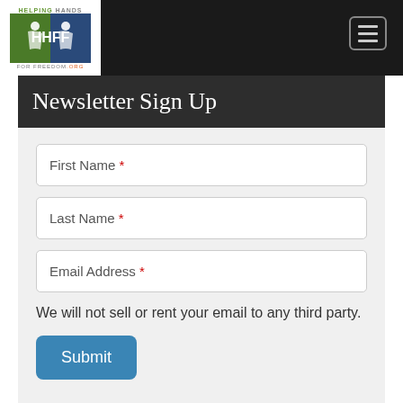[Figure (logo): Helping Hands For Freedom logo with HHFF text and figures on blue/green background]
Newsletter Sign Up
First Name *
Last Name *
Email Address *
We will not sell or rent your email to any third party.
Submit